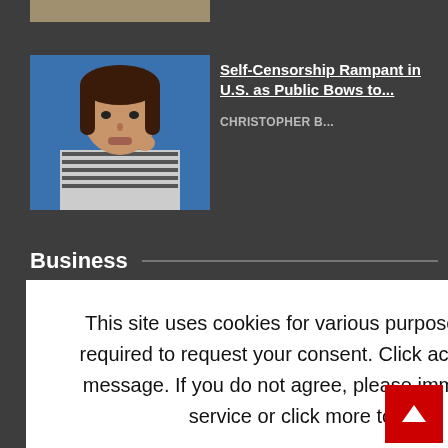[Figure (photo): Thumbnail strip at top, partially visible]
[Figure (photo): Woman with dark hair against blue background]
Self-Censorship Rampant in U.S. as Public Bows to...
CHRISTOPHER B...
Business
This site uses cookies for various purposes. We're legally required to request your consent. Click accept to close this message. If you do not agree, please immediately exit the service or click more to learn why.
Accept
More
rds $25,000 To
ge Rates, Demand
liable Sources”